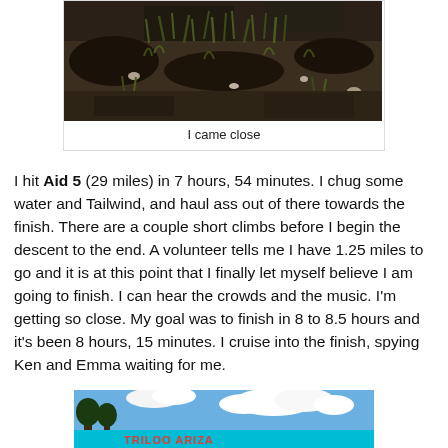[Figure (photo): Close-up photo of muddy ground with grass]
I came close
I hit Aid 5 (29 miles) in 7 hours, 54 minutes. I chug some water and Tailwind, and haul ass out of there towards the finish. There are a couple short climbs before I begin the descent to the end. A volunteer tells me I have 1.25 miles to go and it is at this point that I finally let myself believe I am going to finish. I can hear the crowds and the music. I'm getting so close. My goal was to finish in 8 to 8.5 hours and it's been 8 hours, 15 minutes. I cruise into the finish, spying Ken and Emma waiting for me.
[Figure (photo): Finish line banner at outdoor race event with blue sky and clouds]